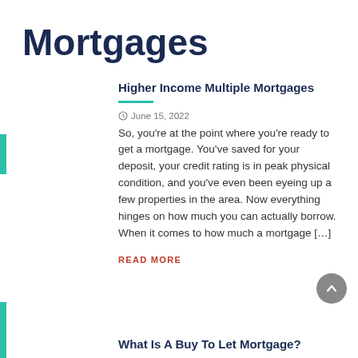Mortgages
Higher Income Multiple Mortgages
June 15, 2022
So, you’re at the point where you’re ready to get a mortgage. You’ve saved for your deposit, your credit rating is in peak physical condition, and you’ve even been eyeing up a few properties in the area. Now everything hinges on how much you can actually borrow. When it comes to how much a mortgage […]
READ MORE
What Is A Buy To Let Mortgage?